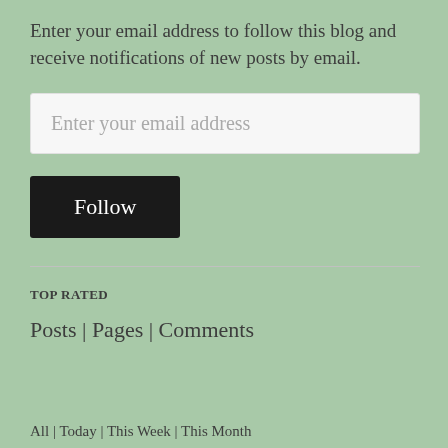Enter your email address to follow this blog and receive notifications of new posts by email.
Enter your email address
Follow
TOP RATED
Posts | Pages | Comments
All | Today | This Week | This Month